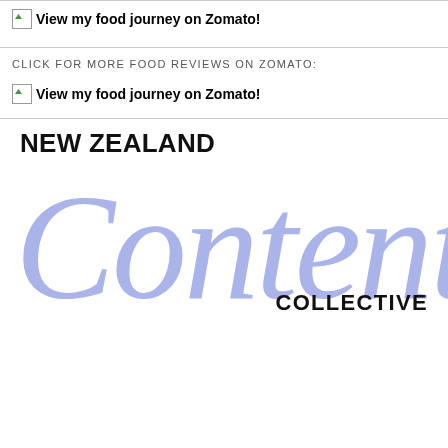[Figure (other): Broken image placeholder with text: View my food journey on Zomato!]
CLICK FOR MORE FOOD REVIEWS ON ZOMATO:
[Figure (other): Broken image placeholder with text: View my food journey on Zomato!]
NEW ZEALAND Content COLLECTIVE